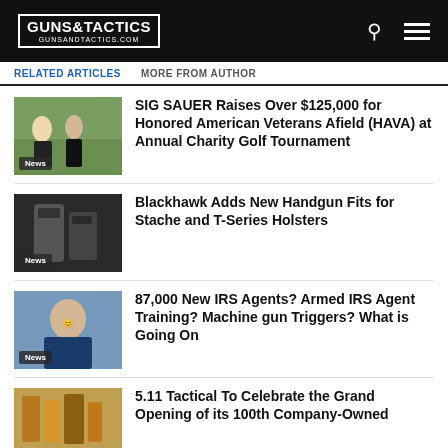GUNS & TACTICS — GUNSANDTACTICS.COM
RELATED ARTICLES   MORE FROM AUTHOR
[Figure (photo): Photo of people at golf event with News badge]
SIG SAUER Raises Over $125,000 for Honored American Veterans Afield (HAVA) at Annual Charity Golf Tournament
[Figure (photo): Photo of handgun holster with News badge]
Blackhawk Adds New Handgun Fits for Stache and T-Series Holsters
[Figure (photo): Photo of man in blue shirt with News badge]
87,000 New IRS Agents? Armed IRS Agent Training? Machine gun Triggers? What is Going On
[Figure (photo): Photo of items on shelf with partial view]
5.11 Tactical To Celebrate the Grand Opening of its 100th Company-Owned